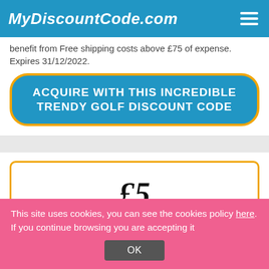MyDiscountCode.com
benefit from Free shipping costs above £75 of expense. Expires 31/12/2022.
ACQUIRE WITH THIS INCREDIBLE TRENDY GOLF DISCOUNT CODE
[Figure (other): Coupon box showing £5 discount value]
This site uses cookies, you can see the cookies policy here. If you continue browsing you are accepting it
OK